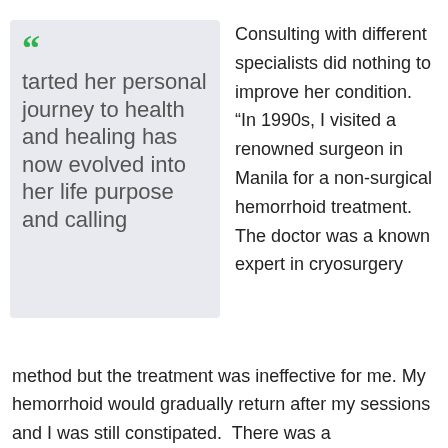tarted her personal journey to health and healing has now evolved into her life purpose and calling
Consulting with different specialists did nothing to improve her condition. “In 1990s, I visited a renowned surgeon in Manila for a non-surgical hemorrhoid treatment. The doctor was a known expert in cryosurgery method but the treatment was ineffective for me. My hemorrhoid would gradually return after my sessions and I was still constipated. There was a